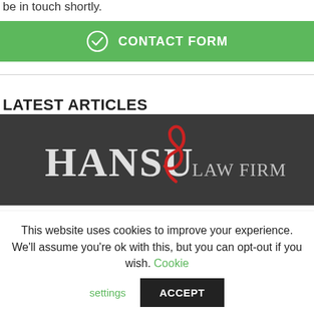be in touch shortly.
[Figure (other): Green contact form button with check circle icon and text CONTACT FORM]
LATEST ARTICLES
[Figure (logo): Hansu Law Firm logo on dark background]
This website uses cookies to improve your experience. We'll assume you're ok with this, but you can opt-out if you wish. Cookie settings ACCEPT